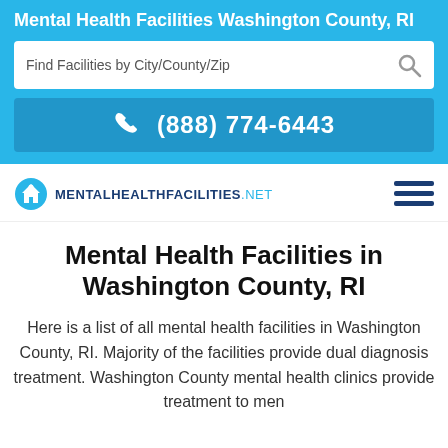Mental Health Facilities Washington County, RI
Find Facilities by City/County/Zip
(888) 774-6443
[Figure (logo): MentalHealthFacilities.net logo with house icon]
Mental Health Facilities in Washington County, RI
Here is a list of all mental health facilities in Washington County, RI. Majority of the facilities provide dual diagnosis treatment. Washington County mental health clinics provide treatment to men